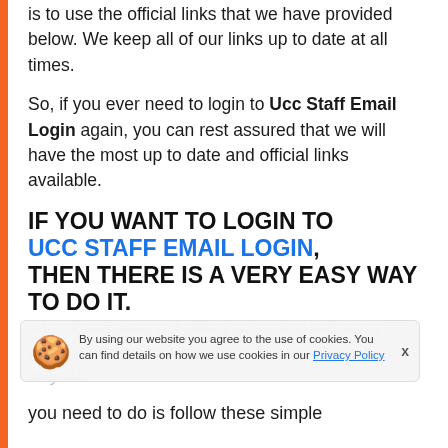is to use the official links that we have provided below. We keep all of our links up to date at all times.
So, if you ever need to login to Ucc Staff Email Login again, you can rest assured that we will have the most up to date and official links available.
IF YOU WANT TO LOGIN TO UCC STAFF EMAIL LOGIN, THEN THERE IS A VERY EASY WAY TO DO IT.
A lot of websites will offer you convoluted ways about doing it. However, there is a much easier way. All you need to do is follow these simple
By using our website you agree to the use of cookies. You can find details on how we use cookies in our Privacy Policy